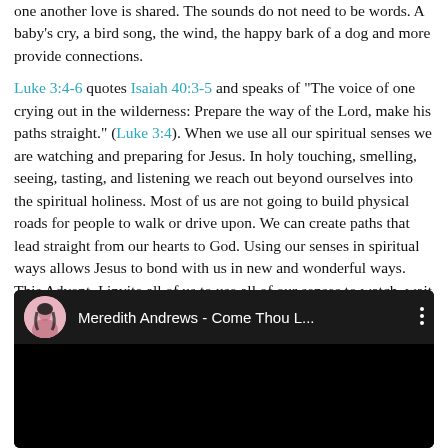one another love is shared. The sounds do not need to be words. A baby's cry, a bird song, the wind, the happy bark of a dog and more provide connections.

Luke 3:4-6 quotes Isaiah 40:3-5 and speaks of "The voice of one crying out in the wilderness: Prepare the way of the Lord, make his paths straight." (Luke 3:4). When we use all our spiritual senses we are watching and preparing for Jesus. In holy touching, smelling, seeing, tasting, and listening we reach out beyond ourselves into the spiritual holiness. Most of us are not going to build physical roads for people to walk or drive upon. We can create paths that lead straight from our hearts to God. Using our senses in spiritual ways allows Jesus to bond with us in new and wonderful ways. This Advent, I invite all of us to use all of our senses to watch, wait and hope while connecting more deeply with one another and God.
[Figure (screenshot): YouTube video embed showing 'Meredith Andrews - Come Thou L...' with avatar/thumbnail and three-dot menu icon]